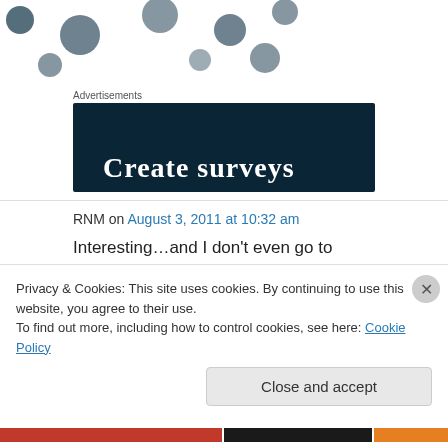Advertisements
[Figure (screenshot): Dark navy advertisement banner with circular dot pattern and white serif text reading 'Create surveys']
RNM on August 3, 2011 at 10:32 am
Interesting…and I don't even go to Upper Georgetown to shop because I consider it a bit of a wasteland. But then maybe I don't live in the
Privacy & Cookies: This site uses cookies. By continuing to use this website, you agree to their use.
To find out more, including how to control cookies, see here: Cookie Policy
Close and accept